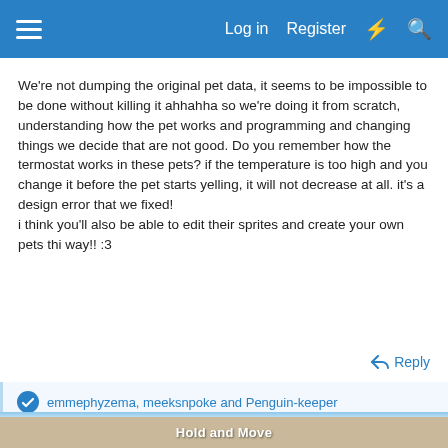Log in  Register
We're not dumping the original pet data, it seems to be impossible to be done without killing it ahhahha so we're doing it from scratch, understanding how the pet works and programming and changing things we decide that are not good. Do you remember how the termostat works in these pets? if the temperature is too high and you change it before the pet starts yelling, it will not decrease at all. it's a design error that we fixed!
i think you'll also be able to edit their sprites and create your own pets thi way!! :3
Reply
emmephyzema, meeksnpoke and Penguin-keeper
[Figure (screenshot): Advertisement banner showing 'Hold and Move' app with two blue 3D figures and a wood-plank background]